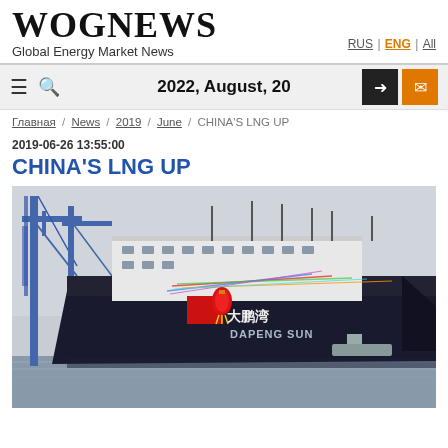WOGNEWS
Global Energy Market News
RUS | ENG | All
≡ 🔍  2022, August, 20  → ✉
Главная / News / 2019 / June / CHINA'S LNG UP
2019-06-26 13:55:00
CHINA'S LNG UP
[Figure (photo): LNG carrier ship named 'DAPENG SUN' with Chinese characters on hull, docked at a shipyard with blue cranes visible, decorated with red lanterns and colorful streamers for a launch ceremony]